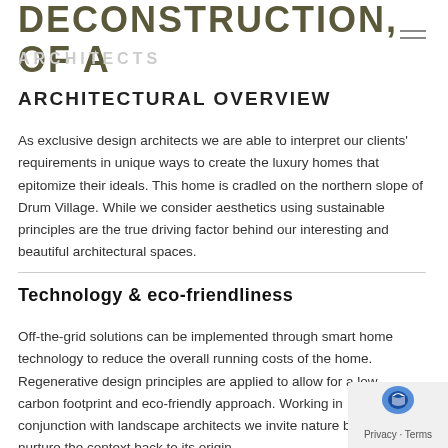DECONSTRUCTION, OF A HOUSE
ARCHITECTURAL OVERVIEW
As exclusive design architects we are able to interpret our clients' requirements in unique ways to create the luxury homes that epitomize their ideals. This home is cradled on the northern slope of Drum Village. While we consider aesthetics using sustainable principles are the true driving factor behind our interesting and beautiful architectural spaces.
Technology & eco-friendliness
Off-the-grid solutions can be implemented through smart home technology to reduce the overall running costs of the home. Regenerative design principles are applied to allow for a low carbon footprint and eco-friendly approach. Working in conjunction with landscape architects we invite nature back and nurture the context back to its origin.